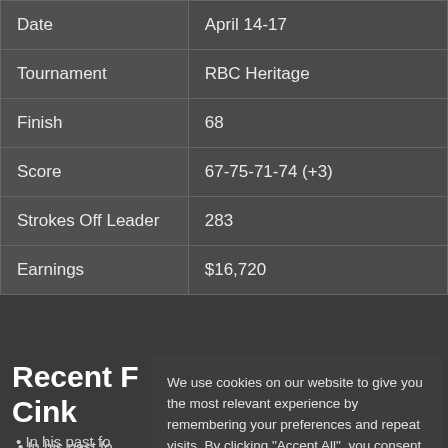| Date | April 14-17 |
| Tournament | RBC Heritage |
| Finish | 68 |
| Score | 67-75-71-74 (+3) |
| Strokes Off Leader | 283 |
| Earnings | $16,720 |
Recent F... Cink
In his past fo...
Out of the pa... cut three times.
We use cookies on our website to give you the most relevant experience by remembering your preferences and repeat visits. By clicking "Accept All", you consent to the use of ALL the cookies.